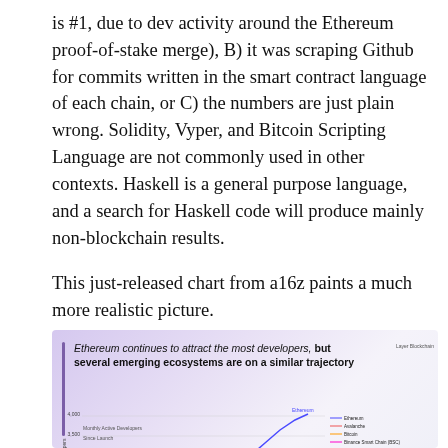is #1, due to dev activity around the Ethereum proof-of-stake merge), B) it was scraping Github for commits written in the smart contract language of each chain, or C) the numbers are just plain wrong. Solidity, Vyper, and Bitcoin Scripting Language are not commonly used in other contexts. Haskell is a general purpose language, and a search for Haskell code will produce mainly non-blockchain results.
This just-released chart from a16z paints a much more realistic picture.
[Figure (line-chart): Line chart from a16z showing Monthly Active Developers Since Launch for multiple blockchain ecosystems including Ethereum, Avalanche, Bitcoin, Binance Smart Chain (BSC), Cardano, Leo, Fantom, Flow, Internet Computer, NEAR, Polygon, Solana, Stacks. Ethereum shows the highest growth reaching ~4000 developers.]